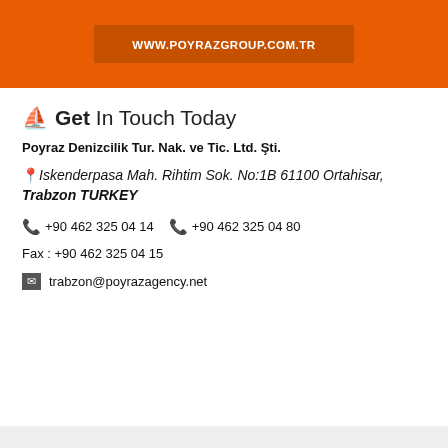WWW.POYRAZGROUP.COM.TR
Get In Touch Today
Poyraz Denizcilik Tur. Nak. ve Tic. Ltd. Şti.
Iskenderpasa Mah. Rihtim Sok. No:1B 61100 Ortahisar, Trabzon TURKEY
+90 462 325 04 14   +90 462 325 04 80
Fax : +90 462 325 04 15
trabzon@poyrazagency.net